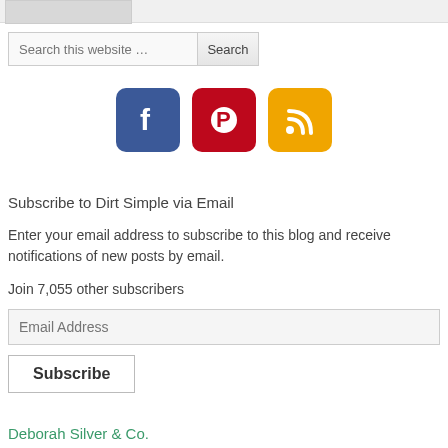[Figure (screenshot): Top gray image strip with a lighter gray thumbnail box on the left]
Search this website …
[Figure (infographic): Three social media icons: Facebook (blue), Pinterest (red), RSS feed (orange/yellow)]
Subscribe to Dirt Simple via Email
Enter your email address to subscribe to this blog and receive notifications of new posts by email.
Join 7,055 other subscribers
Email Address
Subscribe
Deborah Silver & Co.